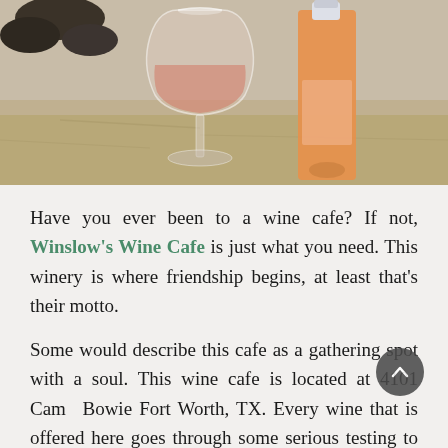[Figure (photo): A rosé wine glass and a rosé wine bottle on a stone surface outdoors]
Have you ever been to a wine cafe? If not, Winslow's Wine Cafe is just what you need. This winery is where friendship begins, at least that's their motto.
Some would describe this cafe as a gathering spot with a soul. This wine cafe is located at 4101 Camp Bowie Fort Worth, TX. Every wine that is offered here goes through some serious testing to even be added to the list.